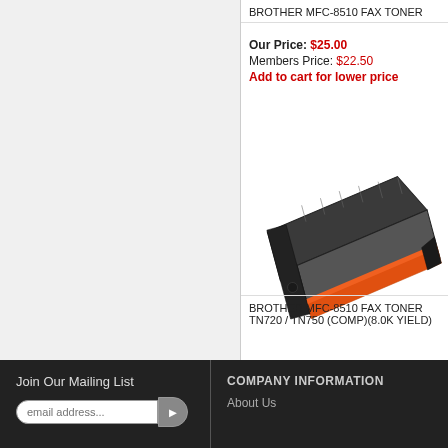BROTHER MFC-8510 FAX TONER
Our Price: $25.00
Members Price: $22.50
Add to cart for lower price
[Figure (photo): Brother MFC-8510 fax toner cartridge, black plastic with orange accents, photographed at an angle on white background.]
BROTHER MFC-8510 FAX TONER TN720 / TN750 (COMP)(8.0K YIELD)
Join Our Mailing List
COMPANY INFORMATION
About Us